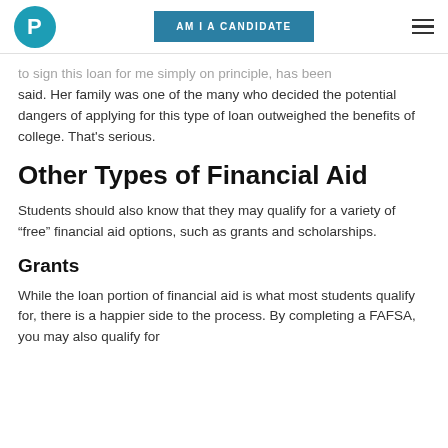AM I A CANDIDATE
to sign this loan for me simply on principle, has been said. Her family was one of the many who decided the potential dangers of applying for this type of loan outweighed the benefits of college. That’s serious.
Other Types of Financial Aid
Students should also know that they may qualify for a variety of “free” financial aid options, such as grants and scholarships.
Grants
While the loan portion of financial aid is what most students qualify for, there is a happier side to the process. By completing a FAFSA, you may also qualify for